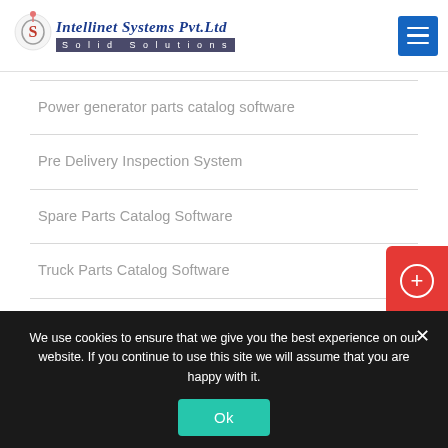Intellinet Systems Pvt.Ltd — Solid Solutions
Power generator parts catalog software
Pre Delivery Inspection System
Spare Parts Catalog Software
Truck Parts Catalog Software
Warranty Management System
We use cookies to ensure that we give you the best experience on our website. If you continue to use this site we will assume that you are happy with it.
Ok